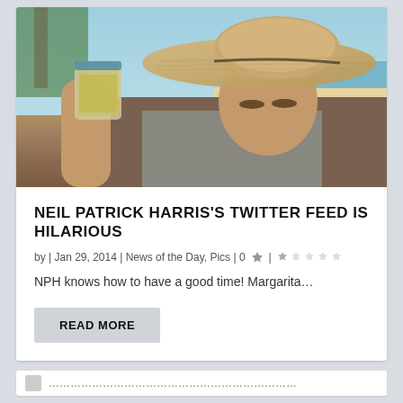[Figure (photo): Man wearing a large straw sombrero hat holding up a glass jar with a drink, seated outdoors near a beach with palm trees and ocean visible in background]
NEIL PATRICK HARRIS'S TWITTER FEED IS HILARIOUS
by | Jan 29, 2014 | News of the Day, Pics | 0 | ★☆☆☆☆
NPH knows how to have a good time! Margarita...
READ MORE